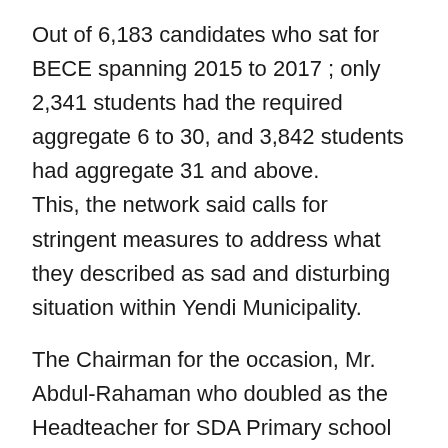Out of 6,183 candidates who sat for BECE spanning 2015 to 2017 ; only 2,341 students had the required aggregate 6 to 30, and 3,842 students had aggregate 31 and above. This, the network said calls for stringent measures to address what they described as sad and disturbing  situation within Yendi Municipality.
The Chairman for the occasion, Mr. Abdul-Rahaman who doubled as the Headteacher for SDA Primary school lamented about  the poor performance of students of the basic level.
He attribute the situation to parents who he accused